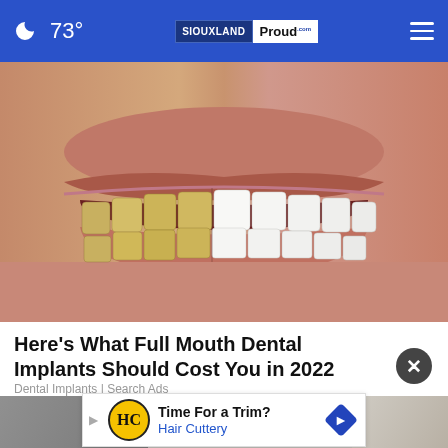🌙 73° | SIOUXLAND Proud
[Figure (photo): Close-up photo of a smile showing a before/after dental comparison — left side showing yellowed/stained teeth, right side showing bright white teeth after dental implants or whitening treatment.]
Here's What Full Mouth Dental Implants Should Cost You in 2022
Dental Implants | Search Ads
[Figure (infographic): Advertisement banner: Hair Cuttery logo with text 'Time For a Trim? Hair Cuttery' and a blue diamond navigation arrow icon.]